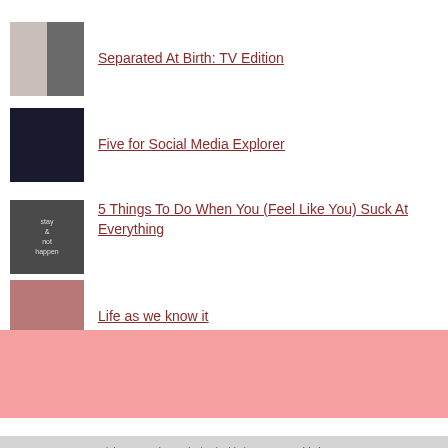[Figure (photo): Thumbnail image - partial, cropped at top]
Separated At Birth: TV Edition
Five for Social Media Explorer
5 Things To Do When You (Feel Like You) Suck At Everything
Life as we know it
[Figure (other): Pink/salmon colored banner area]
Copyright 2022 · Theme design by bluthemes · www.bluthemes.com